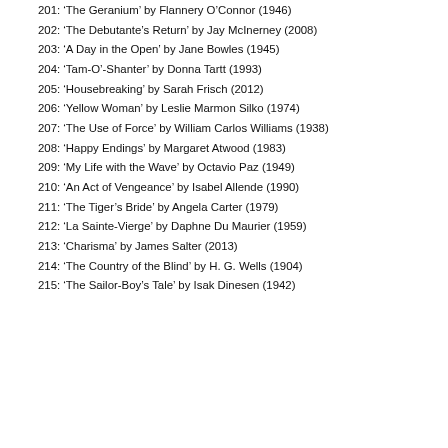201: 'The Geranium' by Flannery O'Connor (1946)
202: 'The Debutante's Return' by Jay McInerney (2008)
203: 'A Day in the Open' by Jane Bowles (1945)
204: 'Tam-O'-Shanter' by Donna Tartt (1993)
205: 'Housebreaking' by Sarah Frisch (2012)
206: 'Yellow Woman' by Leslie Marmon Silko (1974)
207: 'The Use of Force' by William Carlos Williams (1938)
208: 'Happy Endings' by Margaret Atwood (1983)
209: 'My Life with the Wave' by Octavio Paz (1949)
210: 'An Act of Vengeance' by Isabel Allende (1990)
211: 'The Tiger's Bride' by Angela Carter (1979)
212: 'La Sainte-Vierge' by Daphne Du Maurier (1959)
213: 'Charisma' by James Salter (2013)
214: 'The Country of the Blind' by H. G. Wells (1904)
215: 'The Sailor-Boy's Tale' by Isak Dinesen (1942)